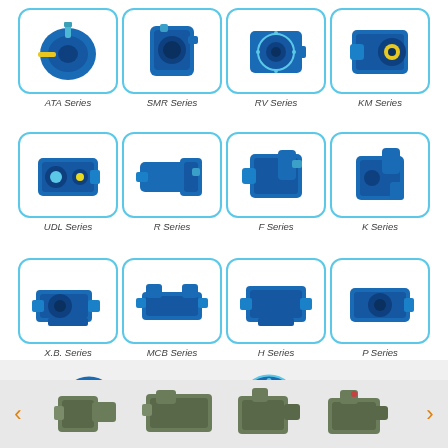[Figure (illustration): Grid of 12 industrial gearbox/reducer products in blue, arranged in 3 rows of 4. Row 1: ATA Series, SMR Series, RV Series, KM Series. Row 2: UDL Series, R Series, F Series, K Series. Row 3: X.B. Series, MCB Series, H Series, P Series.]
ATA Series
SMR Series
RV Series
KM Series
UDL Series
R Series
F Series
K Series
X.B. Series
MCB Series
H Series
P Series
[Figure (illustration): Carousel of blue gearbox products: NMEV, VF, SYNMEV, VT series with left/right navigation arrows]
NMEV
VF
SYNMEV
VT
[Figure (illustration): Carousel of green/grey worm gearbox products: WPS, WFWDS, WFEA, WFWD series with left/right navigation arrows]
WPS
WFWDS
WFEA
WFWD